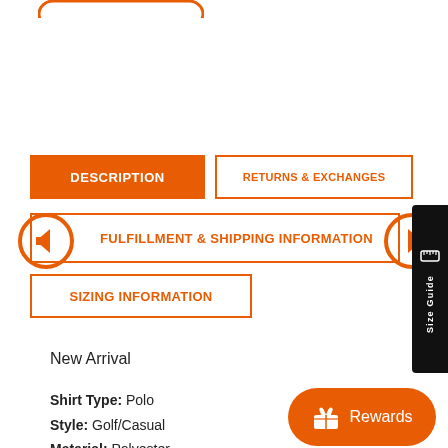[Figure (screenshot): Partial top navigation button with orange rounded border, partially cropped at top]
DESCRIPTION
RETURNS & EXCHANGES
FULFILLMENT & SHIPPING INFORMATION
SIZING INFORMATION
[Figure (other): Left arrow navigation circle icon in orange]
[Figure (other): Right arrow navigation circle icon in orange]
[Figure (other): Size Guide vertical sidebar in black with ruler icon]
New Arrival
Shirt Type: Polo
Style: Golf/Casual
Material: Polyester
Design: 3D
[Figure (other): Rewards button in orange with gift box icon]